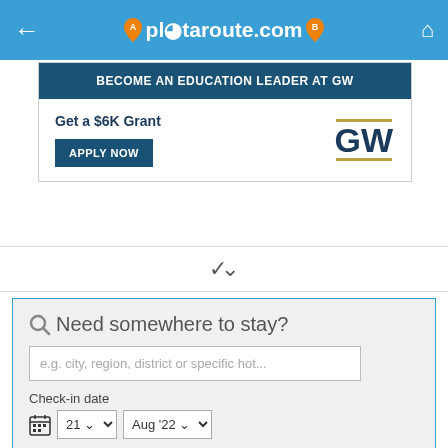plotaroute.com
[Figure (screenshot): Advertisement for George Washington University: 'BECOME AN EDUCATION LEADER AT GW', 'Get a $6K Grant', 'APPLY NOW' button, GW logo]
∨
Need somewhere to stay?
e.g. city, region, district or specific hot...
Check-in date
21  Aug '22
Check-out date
22  Aug '22
I don't have specific dates yet
Booking.com  Search